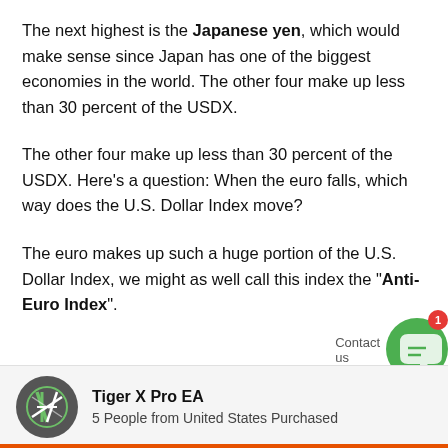The next highest is the Japanese yen, which would make sense since Japan has one of the biggest economies in the world. The other four make up less than 30 percent of the USDX.
The other four make up less than 30 percent of the USDX. Here's a question: When the euro falls, which way does the U.S. Dollar Index move?
The euro makes up such a huge portion of the U.S. Dollar Index, we might as well call this index the "Anti-Euro Index".
[Figure (other): Screenshot overlay elements: scroll-to-top button (grey), chat widget icon (green with notification badge showing 1), and Contact us label]
Tiger X Pro EA
5 People from United States Purchased